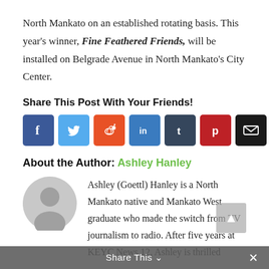North Mankato on an established rotating basis. This year's winner, Fine Feathered Friends, will be installed on Belgrade Avenue in North Mankato's City Center.
Share This Post With Your Friends!
[Figure (infographic): Seven social media share buttons: Facebook (blue), Twitter (light blue), Reddit (orange-red), LinkedIn (teal-blue), Tumblr (dark blue-grey), Pinterest (dark red), Email (black)]
About the Author: Ashley Hanley
[Figure (photo): Generic grey circular user avatar silhouette]
Ashley (Goettl) Hanley is a North Mankato native and Mankato West graduate who made the switch from TV journalism to radio. After five years at KEYC News 12, Ashley is thrilled
Share This ×